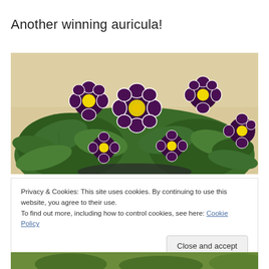Another winning auricula!
[Figure (photo): Close-up photo of a potted auricula plant with deep purple flowers with white edges and bright yellow centers, surrounded by green leaves, on a light background.]
Privacy & Cookies: This site uses cookies. By continuing to use this website, you agree to their use.
To find out more, including how to control cookies, see here: Cookie Policy
[Figure (photo): Partial bottom strip showing green foliage, cropped at page edge.]